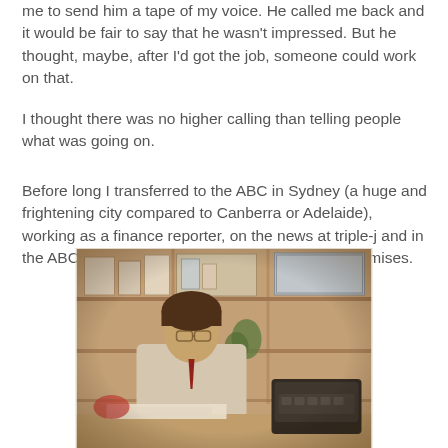me to send him a tape of my voice. He called me back and it would be fair to say that he wasn't impressed. But he thought, maybe, after I'd got the job, someone could work on that.
I thought there was no higher calling than telling people what was going on.
Before long I transferred to the ABC in Sydney (a huge and frightening city compared to Canberra or Adelaide), working as a finance reporter, on the news at triple-j and in the ABC Science Unit, in the old William Street premises.
[Figure (photo): Vintage photograph of a young man sitting at a desk in an office, with shelves of books and boxes behind him and a typewriter on the desk to his right. The photo appears to be from the 1970s or 1980s.]